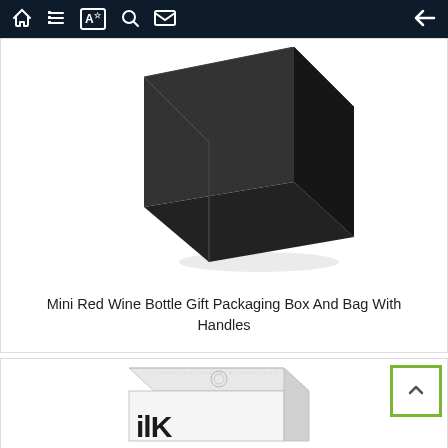Navigation bar with home, list, translate, search, mail icons and back arrow
[Figure (photo): Close-up photo of a matte black gift packaging box with crisp edges and shadow, viewed from a corner angle]
Mini Red Wine Bottle Gift Packaging Box And Bag With Handles
[Figure (photo): Photo of a white corrugated cardboard box with a small floral emblem on top and partial text 'ilK' visible on the front face]